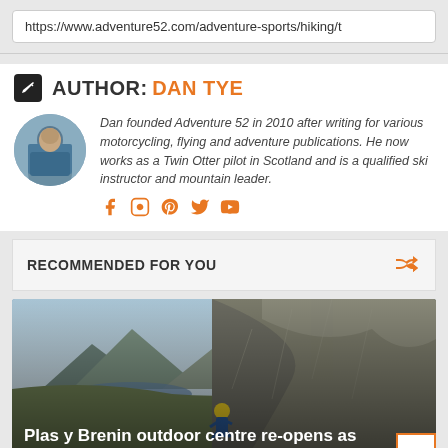https://www.adventure52.com/adventure-sports/hiking/t
AUTHOR: DAN TYE
Dan founded Adventure 52 in 2010 after writing for various motorcycling, flying and adventure publications. He now works as a Twin Otter pilot in Scotland and is a qualified ski instructor and mountain leader.
RECOMMENDED FOR YOU
[Figure (photo): Rock climber ascending a steep rocky ridge with a mountain lake and peaks in background. Caption overlay reads: Plas y Brenin outdoor centre re-opens as lockdown ends]
Plas y Brenin outdoor centre re-opens as lockdown ends